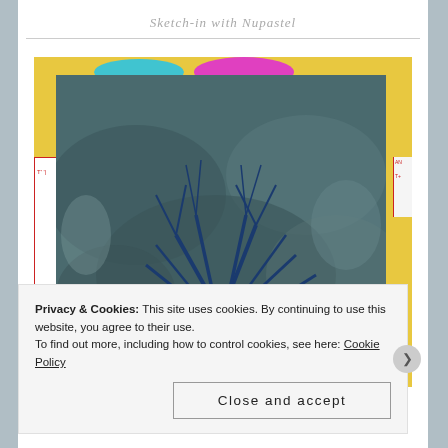Sketch-in with Nupastel
[Figure (photo): A sketch or painting of a tree with blue branches on dark teal/grey textured paper, placed on a yellow surface with art supplies visible in the background including pink and teal items and a ruler.]
Privacy & Cookies: This site uses cookies. By continuing to use this website, you agree to their use.
To find out more, including how to control cookies, see here: Cookie Policy
Close and accept